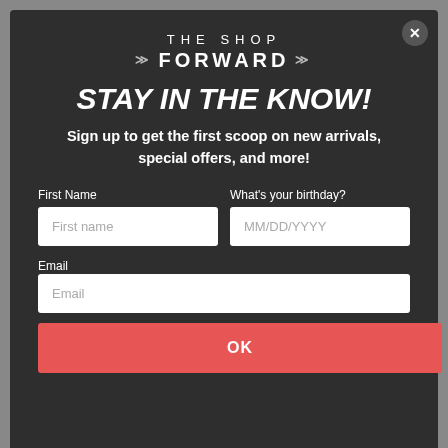THE SHOP FORWARD
STAY IN THE KNOW!
Sign up to get the first scoop on new arrivals, special offers, and more!
First Name | What's your birthday? | Email form fields with OK button